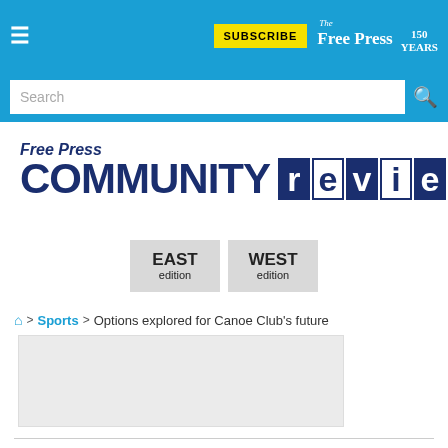SUBSCRIBE | The Free Press 150 YEARS
[Figure (logo): Free Press COMMUNITY review publication logo with EAST edition and WEST edition buttons]
🏠 > Sports > Options explored for Canoe Club's future
[Figure (other): Advertisement placeholder rectangle]